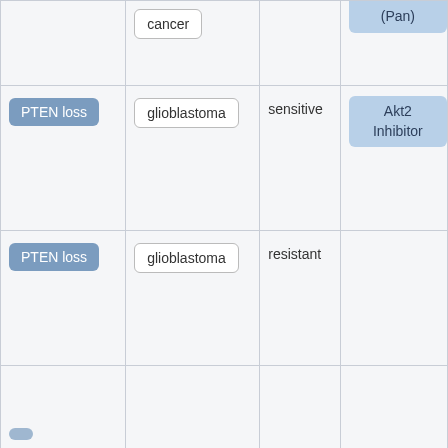| Biomarker | Cancer Type | Response | Drug |
| --- | --- | --- | --- |
|  | cancer |  | (Pan) |
| PTEN loss | glioblastoma | sensitive | Akt2 Inhibitor |
| PTEN loss | glioblastoma | resistant |  |
|  |  |  |  |